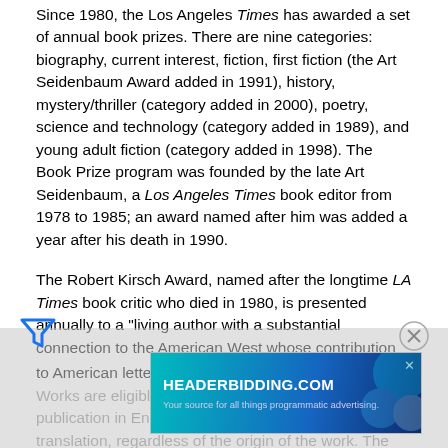Since 1980, the Los Angeles Times has awarded a set of annual book prizes. There are nine categories: biography, current interest, fiction, first fiction (the Art Seidenbaum Award added in 1991), history, mystery/thriller (category added in 2000), poetry, science and technology (category added in 1989), and young adult fiction (category added in 1998). The Book Prize program was founded by the late Art Seidenbaum, a Los Angeles Times book editor from 1978 to 1985; an award named after him was added a year after his death in 1990.
The Robert Kirsch Award, named after the longtime LA Times book critic who died in 1980, is presented annually to a "living author with a substantial connection to the American West whose contribution to American letters deserves special recognition."[5] Works are eligible during the year of their first US publication in English through English-language translation, regardless of the origin of the work. The author of each winning book and the Kirsch Award recipient receives a citation and $1,000...
[Figure (other): Advertisement banner for HEADERBIDDING.COM with subtitle 'Your source for all things programmatic advertising.' shown at bottom of page with a blue/teal gradient background and close button.]